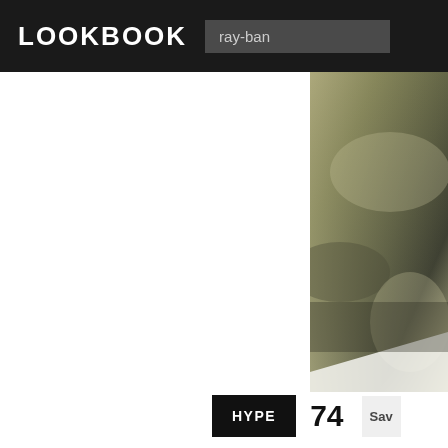LOOKBOOK
ray-ban
[Figure (photo): Close-up blurred fashion photo showing olive/khaki colored fabric, likely pants, with soft bokeh background in muted greens and tans.]
HYPE  74  Sav
1  Pants
Uniqlo in Uniqlo Pants